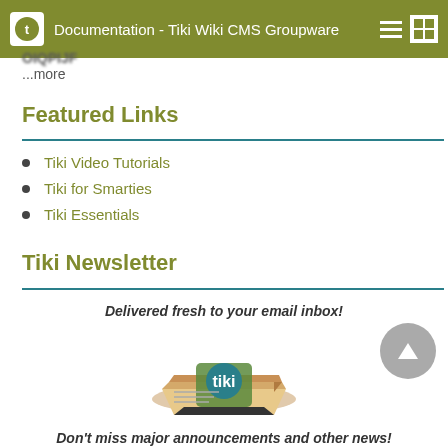Documentation - Tiki Wiki CMS Groupware
...more
Featured Links
Tiki Video Tutorials
Tiki for Smarties
Tiki Essentials
Tiki Newsletter
Delivered fresh to your email inbox!
[Figure (illustration): Tiki newsletter icon — a folded newspaper with the Tiki logo on it]
Don't miss major announcements and other news!